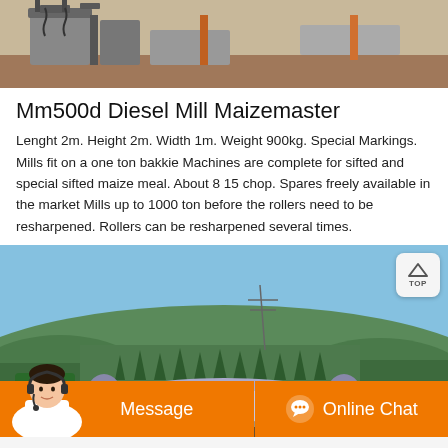[Figure (photo): Top portion of industrial milling equipment photo — showing grey metal machinery parts against an outdoor background with reddish-brown soil and poles]
Mm500d Diesel Mill Maizemaster
Lenght 2m. Height 2m. Width 1m. Weight 900kg. Special Markings. Mills fit on a one ton bakkie Machines are complete for sifted and special sifted maize meal. About 8 15 chop. Spares freely available in the market Mills up to 1000 ton before the rollers need to be resharpened. Rollers can be resharpened several times.
[Figure (photo): Outdoor landscape photo showing hills covered with pine trees under a blue sky, with industrial milling machinery visible in lower portion. A 'TOP' navigation button overlays the top-right corner. An orange chat bar at the bottom shows a customer service agent avatar, 'Message' and 'Online Chat' buttons.]